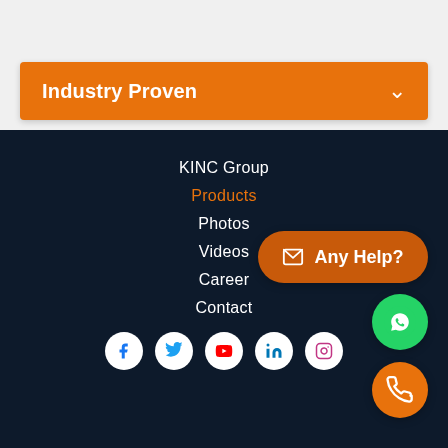Industry Proven
KINC Group
Products
Photos
Videos
Career
Contact
[Figure (other): Social media icons: Facebook, Twitter, YouTube, LinkedIn, Instagram]
[Figure (other): Any Help? button with email icon, WhatsApp button, Phone call button]